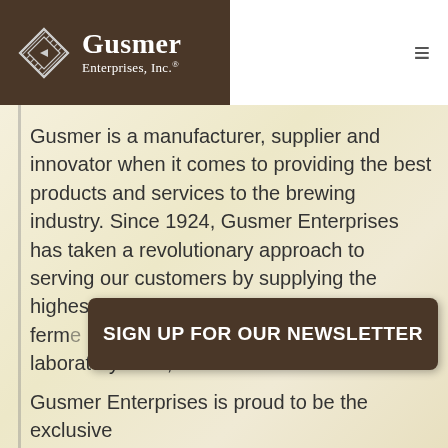[Figure (logo): Gusmer Enterprises, Inc. logo — diamond/shield shaped hatched icon on dark brown background with white serif text]
Gusmer is a manufacturer, supplier and innovator when it comes to providing the best products and services to the brewing industry. Since 1924, Gusmer Enterprises has taken a revolutionary approach to serving our customers by supplying the highest quality goods... ferme... laboratory tools, and more.
SIGN UP FOR OUR NEWSLETTER
Gusmer Enterprises is proud to be the exclusive